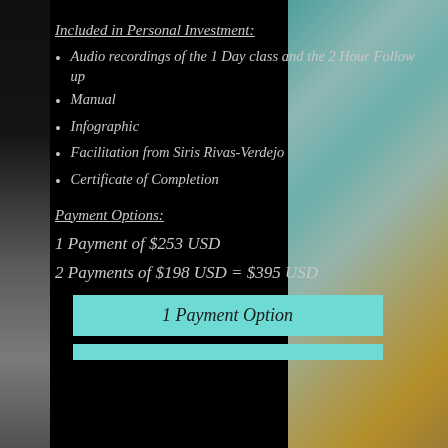Included in Personal Investment:
Audio recordings of the 1 Day class and the 2 Hour Follow up
Manual
Infographic
Facilitation from Siris Rivas-Verdejo
Certificate of Completion
Payment Options:
1 Payment of $253 USD
2 Payments of $198 USD = $395 USD
1 Payment Option